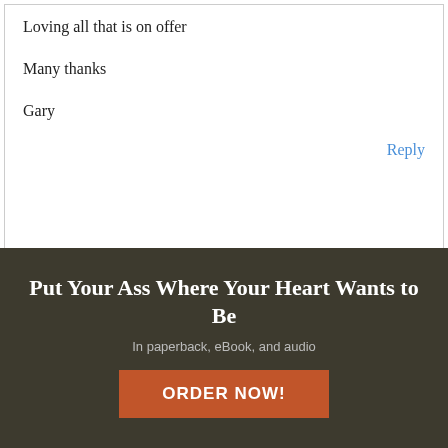Loving all that is on offer

Many thanks

Gary
Reply
Leave a Reply
Cancel Reply
Comment
[Figure (screenshot): Broken image placeholder icon]
Put Your Ass Where Your Heart Wants to Be
In paperback, eBook, and audio
ORDER NOW!